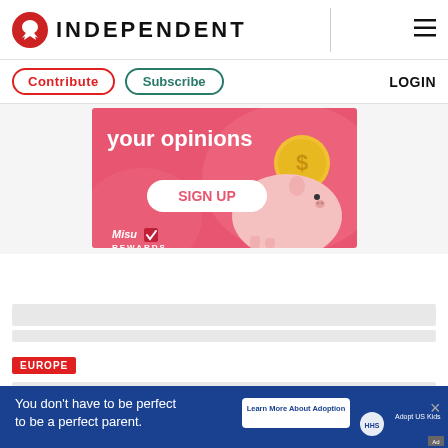INDEPENDENT
Contribute  Subscribe  LOGIN
[Figure (illustration): Misu Rewards advertisement banner with pink background, piggy bank illustration, gold coin with dollar sign, white oval SIGN UP button, and Misu Rewards logo. Text says 'your opinions' at top.]
EUROPE
[Figure (illustration): Bottom banner ad: 'You don't have to be perfect to be a perfect parent.' with 'Learn More About Adoption' button and Adopt US Kids / HHS logos on blue background.]